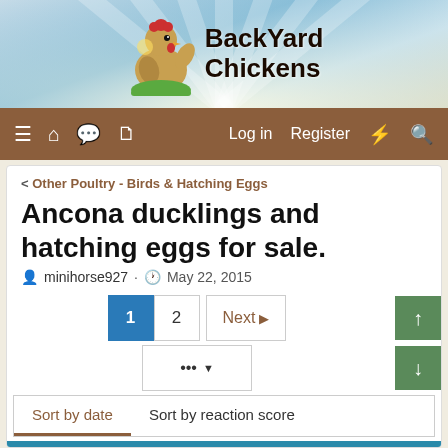[Figure (screenshot): BackYard Chickens website header with logo showing a cartoon chicken and the site name 'BackYard Chickens' on a sky-blue background with sun rays]
≡  🏠  💬  📄    Log in   Register   ⚡   🔍
< Other Poultry - Birds & Hatching Eggs
Ancona ducklings and hatching eggs for sale.
👤 minihorse927 · 🕐 May 22, 2015
Pagination: 1  2  Next ▶
Sort by date  |  Sort by reaction score
May 22, 2015  #1
minihorse927
Whinner snapper